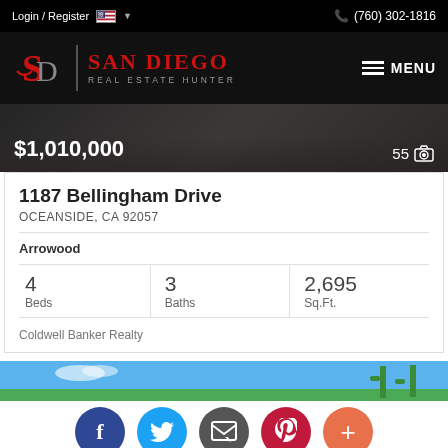Login / Register    (760) 302-1816
[Figure (logo): San Diego Real Estate Hunter logo with SD monogram in red on black background]
$1,010,000    55 photos
1187 Bellingham Drive
OCEANSIDE, CA 92057
Arrowood
| Beds | Baths | Sq.Ft. |
| --- | --- | --- |
| 4 | 3 | 2,695 |
Coldwell Banker Realty
[Figure (photo): Partial view of property exterior with blue sky and cactus]
Facebook Twitter Email Pinterest More